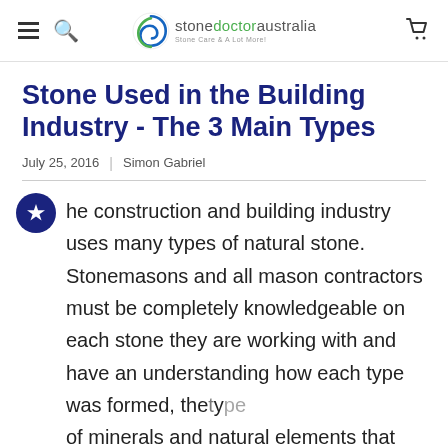stonedoctoraustralia - Stone Care & A Lot More!
Stone Used in the Building Industry - The 3 Main Types
July 25, 2016 | Simon Gabriel
The construction and building industry uses many types of natural stone. Stonemasons and all mason contractors must be completely knowledgeable on each stone they are working with and have an understanding how each type was formed, the types of minerals and natural elements that are present in each type under its rough exterior, the